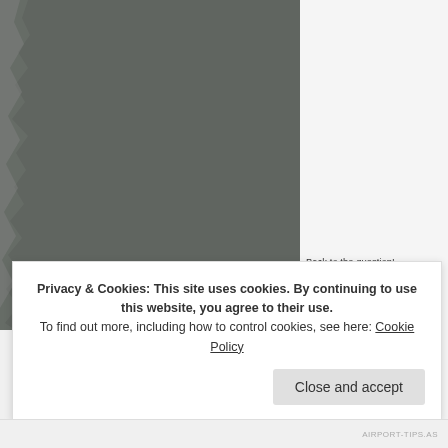[Figure (photo): Dark gray photograph of what appears to be a book or document with torn/rough left edge, occupying the left portion of the page]
Back to the question! random lines of dialo minute of screen time
Privacy & Cookies: This site uses cookies. By continuing to use this website, you agree to their use. To find out more, including how to control cookies, see here: Cookie Policy
Close and accept
AIRPORT-TIPS.AS